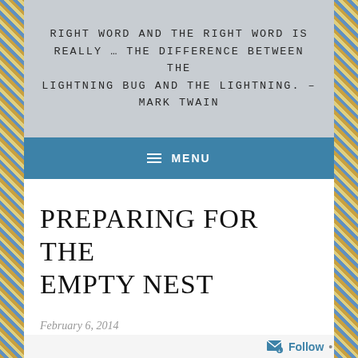RIGHT WORD AND THE RIGHT WORD IS REALLY … THE DIFFERENCE BETWEEN THE LIGHTNING BUG AND THE LIGHTNING. – MARK TWAIN
MENU
PREPARING FOR THE EMPTY NEST
February 6, 2014
Follow ...